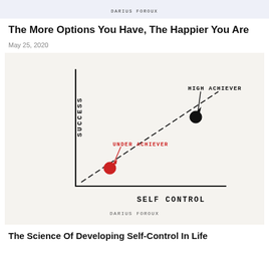DARIUS FOROUX
The More Options You Have, The Happier You Are
May 25, 2020
[Figure (scatter-plot): Hand-drawn scatter plot with x-axis labeled SELF CONTROL and y-axis labeled SUCCESS. A dashed diagonal line goes from lower-left to upper-right. Two points: a red dot in the lower-left area labeled UNDER ACHIEVER (with an arrow pointing to it), and a black dot in the upper-right area labeled HIGH ACHIEVER (with an arrow pointing to it). Bottom watermark: DARIUS FOROUX.]
The Science Of Developing Self-Control In Life